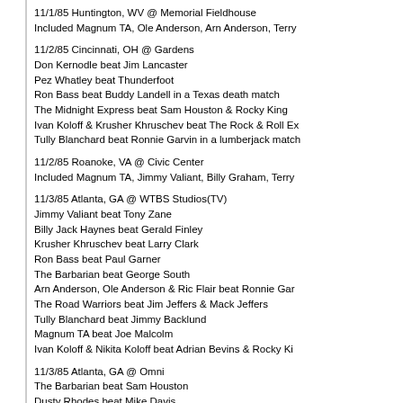11/1/85 Huntington, WV @ Memorial Fieldhouse
Included Magnum TA, Ole Anderson, Arn Anderson, Terry
11/2/85 Cincinnati, OH @ Gardens
Don Kernodle beat Jim Lancaster
Pez Whatley beat Thunderfoot
Ron Bass beat Buddy Landell in a Texas death match
The Midnight Express beat Sam Houston & Rocky King
Ivan Koloff & Krusher Khruschev beat The Rock & Roll Ex
Tully Blanchard beat Ronnie Garvin in a lumberjack match
11/2/85 Roanoke, VA @ Civic Center
Included Magnum TA, Jimmy Valiant, Billy Graham, Terry
11/3/85 Atlanta, GA @ WTBS Studios(TV)
Jimmy Valiant beat Tony Zane
Billy Jack Haynes beat Gerald Finley
Krusher Khruschev beat Larry Clark
Ron Bass beat Paul Garner
The Barbarian beat George South
Arn Anderson, Ole Anderson & Ric Flair beat Ronnie Gar
The Road Warriors beat Jim Jeffers & Mack Jeffers
Tully Blanchard beat Jimmy Backlund
Magnum TA beat Joe Malcolm
Ivan Koloff & Nikita Koloff beat Adrian Bevins & Rocky Ki
11/3/85 Atlanta, GA @ Omni
The Barbarian beat Sam Houston
Dusty Rhodes beat Mike Davis
Billy Graham beat Abdullah The Butcher by DQ
Terry Taylor beat Buddy Landell
Ivan Koloff, Nikita Koloff & Krusher Khruschev beat Jimmy
Tully Blanchard beat Ron Garvin by DQ
Magnum TA, Billy Jack Haynes & Dusty Rhodes beat Ole
11/3/85 Asheville, NC @ Civic Center(Afternoon Show)
Black Bart beat Pat Tanaka